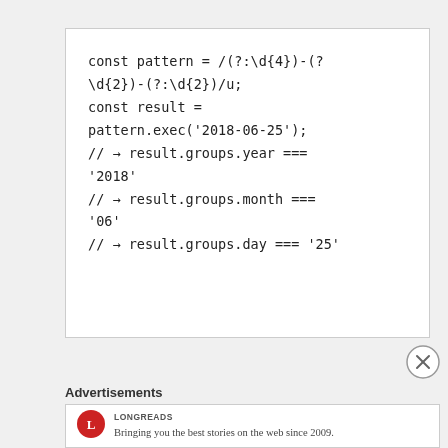[Figure (screenshot): Code block showing JavaScript regex named capture groups example with const pattern and const result]
Advertisements
[Figure (other): Longreads advertisement: logo and text 'Bringing you the best stories on the web since 2009.']